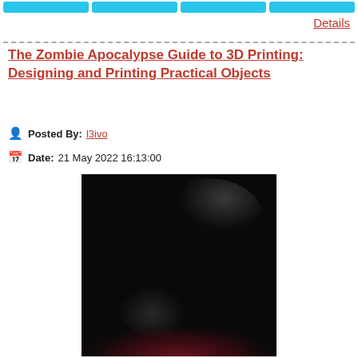[navigation buttons]
Details
The Zombie Apocalypse Guide to 3D Printing: Designing and Printing Practical Objects
Posted By: l3ivo
Date: 21 May 2022 16:13:00
[Figure (photo): Dark blurred image, mostly black with subtle red/pink gradient at bottom, appears to be a 3D printed object in low light]